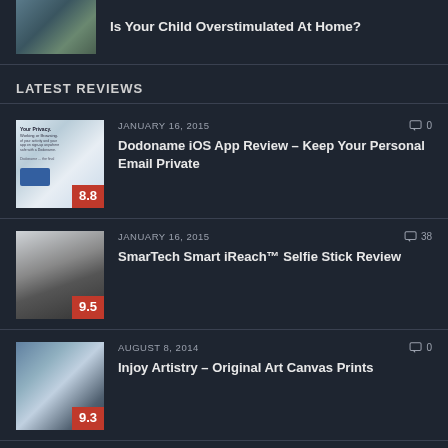[Figure (photo): Thumbnail image of children near water/landscape, partially cut off at top]
Is Your Child Overstimulated At Home?
LATEST REVIEWS
[Figure (photo): App screenshot thumbnail showing privacy/email app with score badge 8.8]
JANUARY 16, 2015
0 comments
Dodoname iOS App Review – Keep Your Personal Email Private
[Figure (photo): Selfie stick product photo on white background with score badge 9.5]
JANUARY 16, 2015
38 comments
SmarTech Smart iReach™ Selfie Stick Review
[Figure (photo): Castle/historic building photo with score badge 9.3]
AUGUST 8, 2014
0 comments
Injoy Artistry – Original Art Canvas Prints
About Mom Blog Society